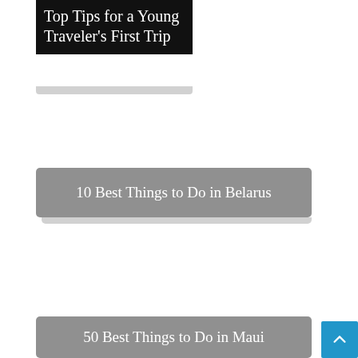Top Tips for a Young Traveler's First Trip
10 Best Things to Do in Belarus
50 Best Things to Do in Maui